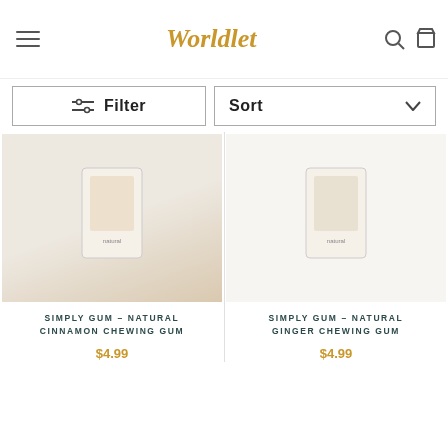Worldlet
Filter
Sort
[Figure (photo): Product photo area for Simply Gum Natural Cinnamon Chewing Gum, light beige/cream background]
SIMPLY GUM – NATURAL CINNAMON CHEWING GUM
$4.99
[Figure (photo): Product photo area for Simply Gum Natural Ginger Chewing Gum, white/light background]
SIMPLY GUM – NATURAL GINGER CHEWING GUM
$4.99